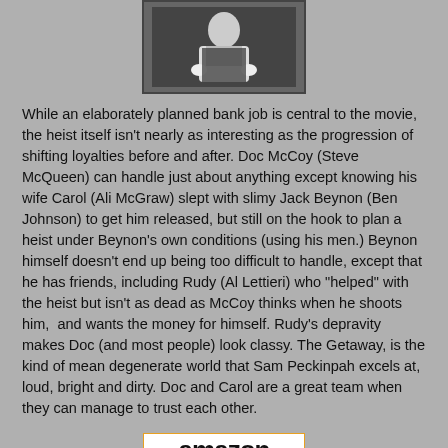[Figure (photo): Black and white photo of a person in formal attire]
While an elaborately planned bank job is central to the movie, the heist itself isn't nearly as interesting as the progression of shifting loyalties before and after. Doc McCoy (Steve McQueen) can handle just about anything except knowing his wife Carol (Ali McGraw) slept with slimy Jack Beynon (Ben Johnson) to get him released, but still on the hook to plan a heist under Beynon's own conditions (using his men.) Beynon himself doesn't end up being too difficult to handle, except that he has friends, including Rudy (Al Lettieri) who "helped" with the heist but isn't as dead as McCoy thinks when he shoots him,  and wants the money for himself. Rudy's depravity makes Doc (and most people) look classy. The Getaway, is the kind of mean degenerate world that Sam Peckinpah excels at, loud, bright and dirty. Doc and Carol are a great team when they can manage to trust each other.
[Figure (logo): Amazon logo with orange arrow]